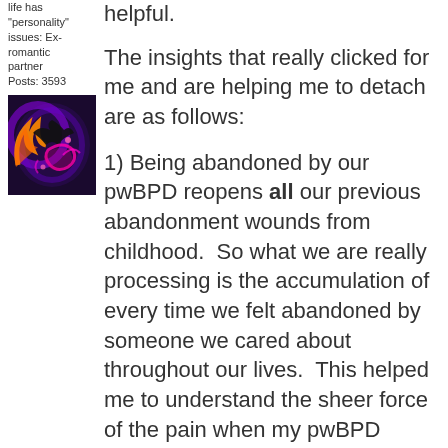life has "personality" issues: Ex-romantic partner
Posts: 3593
[Figure (photo): Avatar image with colorful neon heart design on dark background]
helpful.
The insights that really clicked for me and are helping me to detach are as follows:
1) Being abandoned by our pwBPD reopens all our previous abandonment wounds from childhood.  So what we are really processing is the accumulation of every time we felt abandoned by someone we cared about throughout our lives.  This helped me to understand the sheer force of the pain when my pwBPD rejected me.  It was everything together, all at once.  I hadn't